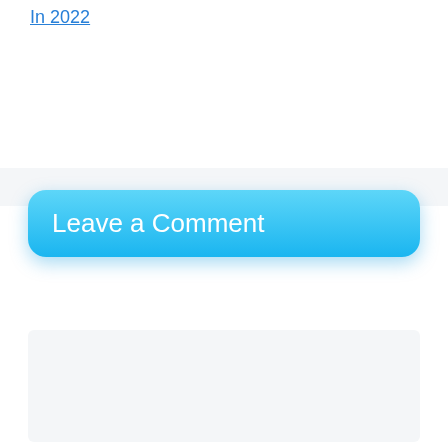In 2022
Leave a Comment
[Figure (screenshot): Empty comment text area input box with light gray background]